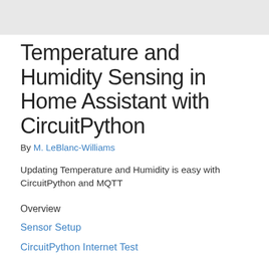[Figure (other): Gray header banner at the top of the page]
Temperature and Humidity Sensing in Home Assistant with CircuitPython
By M. LeBlanc-Williams
Updating Temperature and Humidity is easy with CircuitPython and MQTT
Overview
Sensor Setup
CircuitPython Internet Test